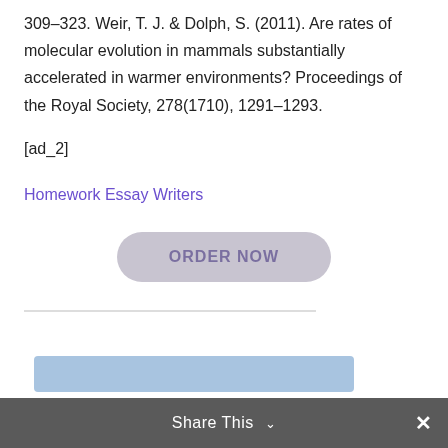309–323. Weir, T. J. & Dolph, S. (2011). Are rates of molecular evolution in mammals substantially accelerated in warmer environments? Proceedings of the Royal Society, 278(1710), 1291–1293.
[ad_2]
Homework Essay Writers
[Figure (other): ORDER NOW button - rounded rectangle button with muted purple/gray styling]
Share This ∨  ✕